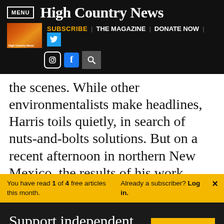MENU | High Country News
[Figure (screenshot): High Country News website navigation bar with magazine thumbnail, SUBSCRIBE, THE MAGAZINE, DONATE NOW links, Twitter, Instagram, Facebook and search icons]
the scenes. While other environmentalists make headlines, Harris toils quietly, in search of nuts-and-bolts solutions. But on a recent afternoon in northern New Mexico, the results of his work more clear
You have read 1 of 4 free articles this month. Already a subscriber? Log in.
Support independent journalism. Subscribe